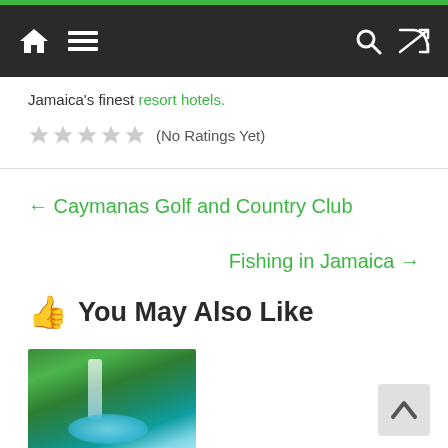Navigation bar with home, menu, search, and shuffle icons
Jamaica's finest resort hotels.
★★★★★ (No Ratings Yet)
← Caymanas Golf and Country Club
Fishing in Jamaica →
👍 You May Also Like
[Figure (photo): Waterfall in lush green tropical forest with turquoise pool]